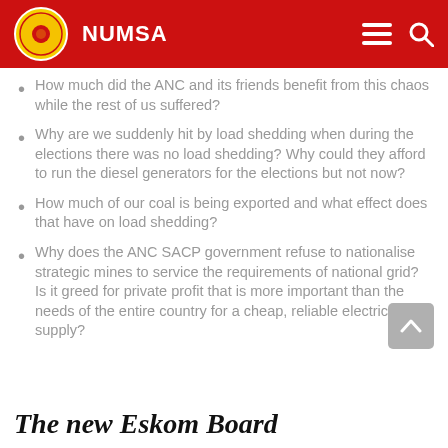NUMSA
How much did the ANC and its friends benefit from this chaos while the rest of us suffered?
Why are we suddenly hit by load shedding when during the elections there was no load shedding? Why could they afford to run the diesel generators for the elections but not now?
How much of our coal is being exported and what effect does that have on load shedding?
Why does the ANC SACP government refuse to nationalise strategic mines to service the requirements of national grid? Is it greed for private profit that is more important than the needs of the entire country for a cheap, reliable electricity supply?
The new Eskom Board